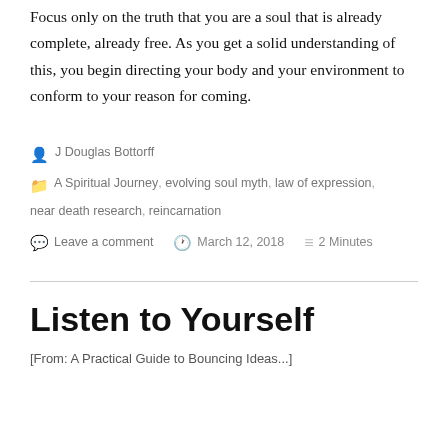Focus only on the truth that you are a soul that is already complete, already free. As you get a solid understanding of this, you begin directing your body and your environment to conform to your reason for coming.
J Douglas Bottorff
A Spiritual Journey, evolving soul myth, law of expression, near death research, reincarnation
Leave a comment   March 12, 2018   2 Minutes
Listen to Yourself
[From: A Practical Guide to Bouncing Ideas...]